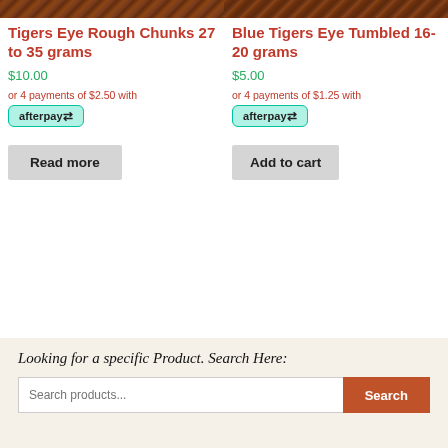[Figure (photo): Wooden background image strip at top, split across two product columns]
Tigers Eye Rough Chunks 27 to 35 grams
$10.00
or 4 payments of $2.50 with
[Figure (logo): Afterpay logo badge]
Blue Tigers Eye Tumbled 16-20 grams
$5.00
or 4 payments of $1.25 with
[Figure (logo): Afterpay logo badge]
Looking for a specific Product. Search Here: